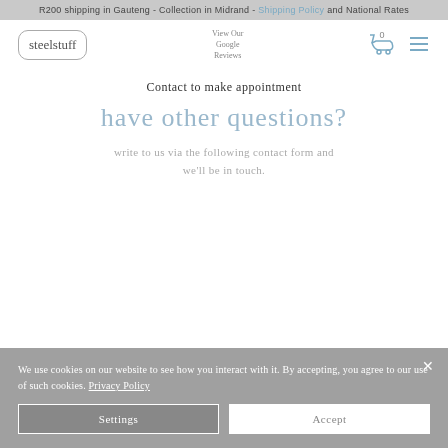R200 shipping in Gauteng - Collection in Midrand - Shipping Policy and National Rates
[Figure (logo): Steel Stuff logo in rounded rectangle border]
View Our Google Reviews
Contact to make appointment
have other questions?
write to us via the following contact form and we'll be in touch.
We use cookies on our website to see how you interact with it. By accepting, you agree to our use of such cookies. Privacy Policy
Settings
Accept